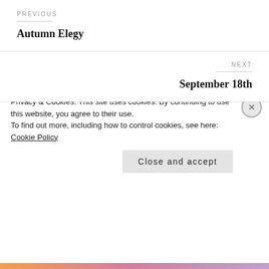PREVIOUS
Autumn Elegy
NEXT
September 18th
14 thoughts on “Wonderful T...
Privacy & Cookies: This site uses cookies. By continuing to use this website, you agree to their use.
To find out more, including how to control cookies, see here:
Cookie Policy
Close and accept